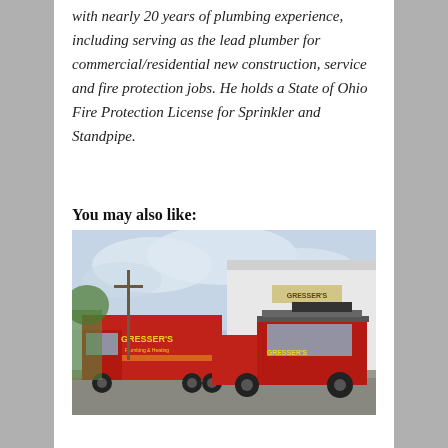with nearly 20 years of plumbing experience, including serving as the lead plumber for commercial/residential new construction, service and fire protection jobs. He holds a State of Ohio Fire Protection License for Sprinkler and Standpipe.
You may also like:
[Figure (photo): Two red Gresser's Plumbing & Heating vehicles — a box truck and a pickup truck — parked in front of a white commercial building with a Gresser's sign.]